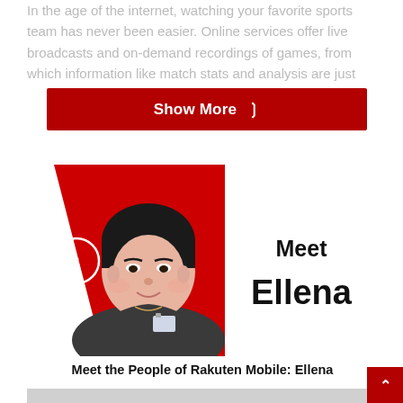In the age of the internet, watching your favorite sports team has never been easier. Online services offer live broadcasts and on-demand recordings of games, from which information like match stats and analysis are just
Show More ˅
[Figure (photo): Photo of a young Asian woman named Ellena wearing a dark shirt with an ID badge, posed against a red geometric polygon background. A white circle navigation arrow (left chevron) is overlaid on the left side. To the right of the photo on white background: 'Meet' in bold black, 'Ellena' in large bold black text.]
Meet the People of Rakuten Mobile: Ellena